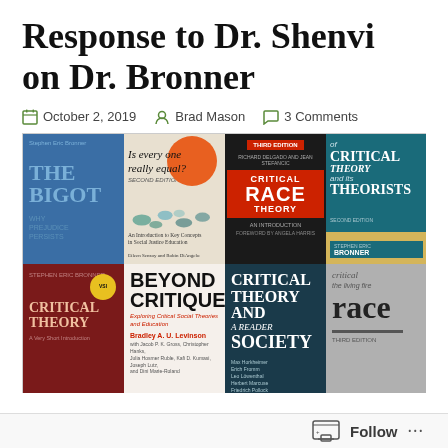Response to Dr. Shenvi on Dr. Bronner
October 2, 2019   Brad Mason   3 Comments
[Figure (photo): A collage of eight book covers related to Critical Theory, Critical Race Theory, and Social Justice Education. Top row: 'The Bigot: Why Prejudice Persists' by Stephen Eric Bronner (blue cover), 'Is Everyone Really Equal? Second Edition' (cream cover with orange circle and fish illustration), 'Critical Race Theory: An Introduction, Third Edition' (black and red cover), 'Of Critical Theory and Its Theorists, Second Edition' by Stephen Eric Bronner (teal cover with yellow band). Bottom row: 'Critical Theory: A Very Short Introduction' by Stephen Eric Bronner (dark red cover), 'Beyond Critique: Exploring Critical Social Theories and Education' by Bradley A.U. Levinson et al. (white cover with bold black text), 'Critical Theory and Society: A Reader' (dark teal cover with white text), 'Critical Race, Third Edition' (gray cover).]
Follow